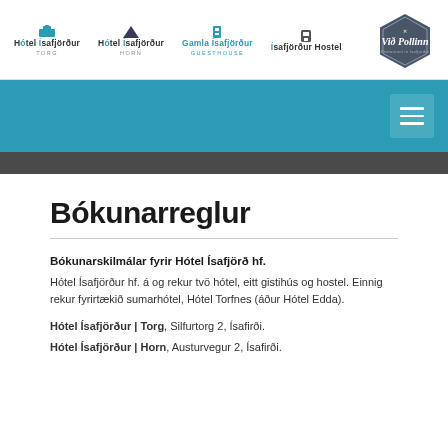[Figure (logo): Hotel Ísafjörður logos: Hótel Ísafjörður Torg, Hótel Ísafjörður Horn, Gamla Ísafjörður Guesthouse, Ísafjörður Hostel, and Við Pollinn restaurant hexagon logo]
Bókunarreglur
Bókunarskilmálar fyrir Hótel Ísafjörð hf.
Hótel Ísafjörður hf. á og rekur tvö hótel, eitt gistihús og hostel. Einnig rekur fyrirtækið sumarhótel, Hótel Torfnes (áður Hótel Edda).
Hótel Ísafjörður | Torg, Silfurtorg 2, Ísafirði.
Hótel Ísafjörður | Horn, Austurvegur 2, Ísafirði.